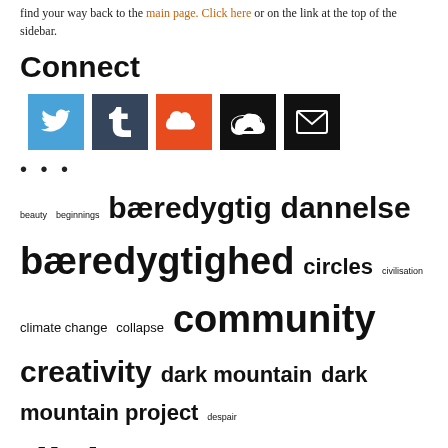find your way back to the main page. Click here or on the link at the top of the sidebar.
Connect
[Figure (infographic): Five social media icon buttons: Twitter (blue), Tumblr (dark blue-grey), SoundCloud (orange-red), a cloud icon (black), and an email envelope icon (black).]
• • •
beauty  beginnings  bæredygtig  dannelse  bæredygtighed  circles  civilisation  climate change  collapse  community  creativity  dark mountain  dark mountain project  despair  dialogue  ecocentrism  gaia  heart-mind computer  improvisation  innovation  klimaændringer  language  liberation  mass extinction  narrative  nature  new economics  patternwhichconnects  photography  proprioception  pædagogik  reality  rilke  sharon blackie  spirals  stories  sustainability  synchronicity  time  Tony Dias  uea sainsbury centre  uncivilisation  undervisning  vinay gupta  violence  webdesign